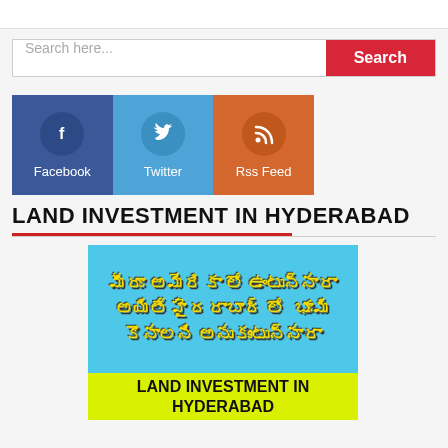[Figure (screenshot): Search bar with text 'Search here...' and a red Search button]
[Figure (infographic): Social media buttons: Facebook (dark blue), Twitter (light blue), Rss Feed (orange), each with icon circle and label]
LAND INVESTMENT IN HYDERABAD
[Figure (infographic): Advertisement image with Telugu text and 'LAND INVESTMENT IN HYDERABAD' text on yellow background]